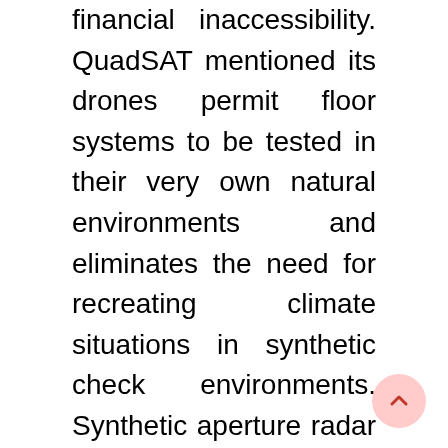financial inaccessibility. QuadSAT mentioned its drones permit floor systems to be tested in their very own natural environments and eliminates the need for recreating climate situations in synthetic check environments. Synthetic aperture radar is used to create two-dimensional pictures and three-dimensional object reconstruction on the floor of the earth. Unlike traditional Earth observation applied sciences, SAR has the power to see through clouds, smoke, and the darkness of night time.
Shaalaa has fastidiously crafted Balbharati options for 10th Standard Board Exam